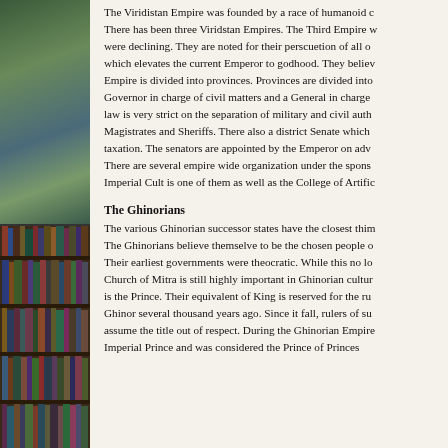[Figure (photo): Left sidebar showing two photographs: top half shows shelves or room with green/blue backdrop, bottom half shows shelves filled with books and media.]
The Viridistan Empire was founded by a race of humanoid c... There has been three Viridstan Empires. The Third Empire w... were declining. They are noted for their perscuetion of all o... which elevates the current Emperor to godhood. They believ... Empire is divided into provinces. Provinces are divided into... Governor in charge of civil matters and a General in charge... law is very strict on the separation of military and civil auth... Magistrates and Sheriffs. There also a district Senate which... taxation. The senators are appointed by the Emperor on adv... There are several empire wide organization under the spons... Imperial Cult is one of them as well as the College of Artific...
The Ghinorians
The various Ghinorian successor states have the closest thim... The Ghinorians believe themselve to be the chosen people o... Their earliest governments were theocratic. While this no lo... Church of Mitra is still highly important in Ghinorian cultur... is the Prince. Their equivalent of King is reserved for the ru... Ghinor several thousand years ago. Since it fall, rulers of su... assume the title out of respect. During the Ghinorian Empire... Imperial Prince and was considered the Prince of Princes...